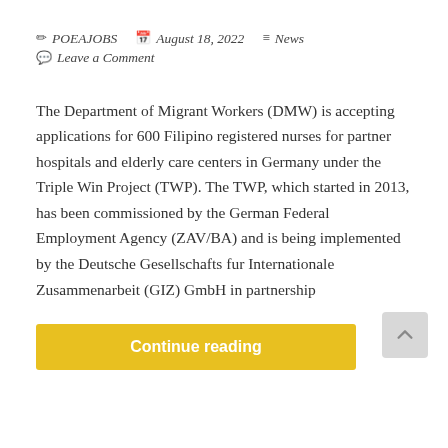✏ POEAJOBS  🗓 August 18, 2022  ≡ News  💬 Leave a Comment
The Department of Migrant Workers (DMW) is accepting applications for 600 Filipino registered nurses for partner hospitals and elderly care centers in Germany under the Triple Win Project (TWP). The TWP, which started in 2013, has been commissioned by the German Federal Employment Agency (ZAV/BA) and is being implemented by the Deutsche Gesellschafts fur Internationale Zusammenarbeit (GIZ) GmbH in partnership
Continue reading